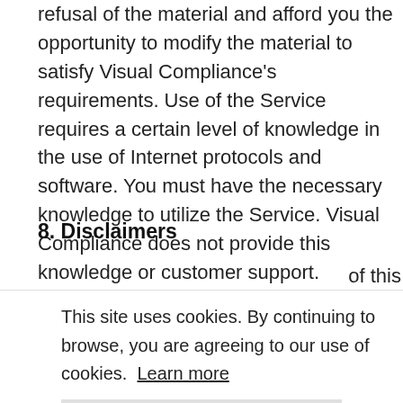refusal of the material and afford you the opportunity to modify the material to satisfy Visual Compliance's requirements. Use of the Service requires a certain level of knowledge in the use of Internet protocols and software. You must have the necessary knowledge to utilize the Service. Visual Compliance does not provide this knowledge or customer support.
8. Disclaimers
This site uses cookies. By continuing to browse, you are agreeing to our use of cookies. Learn more
Got it!
accuracy, reliability, or content of any information